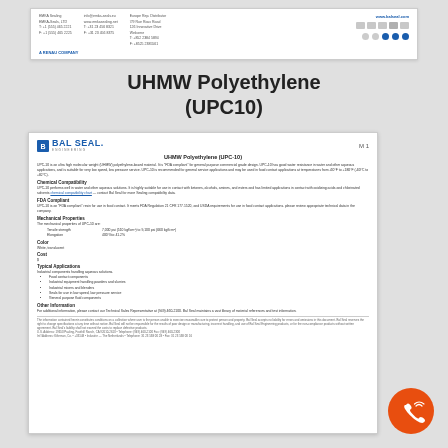[Figure (other): Bal Seal Engineering header card with company address, phone/fax, website, certification icons, and social media icons]
UHMW Polyethylene (UPC10)
[Figure (screenshot): Bal Seal Engineering product data sheet for UHMW Polyethylene (UPC-10) showing logo, material description, chemical compatibility, FDA compliance, mechanical properties (tensile strength 7,000-9,100 psi, elongation 400-41%), color (white, translucent), cost ($), typical applications list, other information, and footer]
[Figure (other): Orange circular call/contact icon with phone and signal waves symbol]